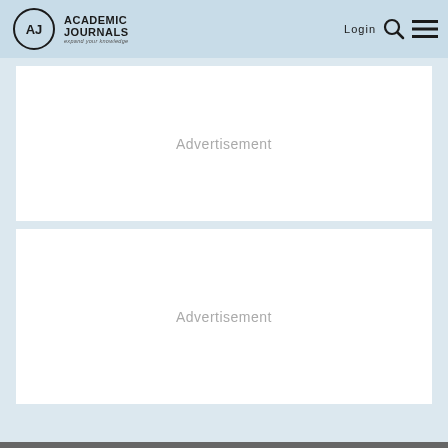Academic Journals — expand your knowledge | Login
[Figure (other): Advertisement placeholder box 1]
[Figure (other): Advertisement placeholder box 2]